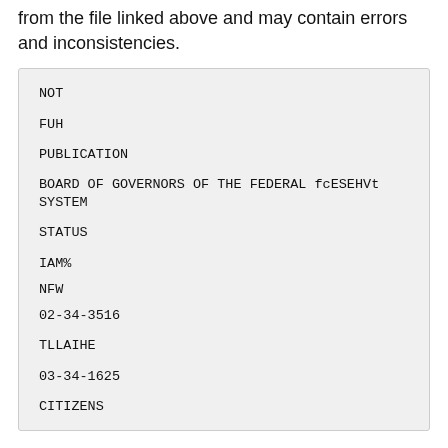from the file linked above and may contain errors and inconsistencies.
NOT

FUH

PUBLICATION

BOARD OF GOVERNORS OF THE FEDERAL fcESEHVt SYSTEM

STATUS

IAM%

NFW
02-34-3516

TLLAIHE

03-34-1625

CITIZENS